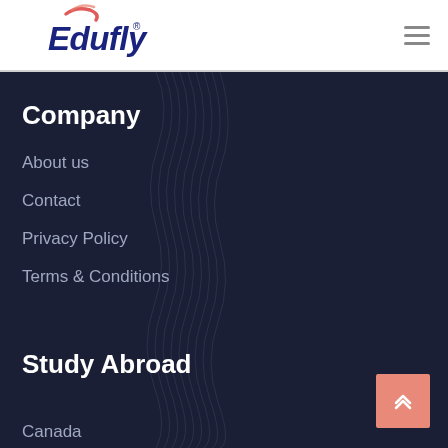[Figure (logo): Edufly logo with stylized swish above text, in dark blue italic bold font]
Company
About us
Contact
Privacy Policy
Terms & Conditions
Study Abroad
Canada